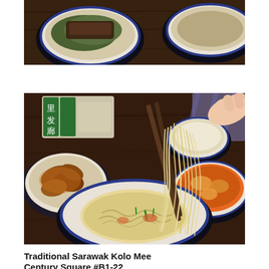[Figure (photo): Top portion of a food photo showing two dark bowls with noodle dishes on a wooden table, partially cropped]
[Figure (photo): Main food photo showing a hand holding chopsticks lifting noodles from a blue-rimmed white bowl of Kolo Mee, with side dishes including fried items and a curry dish, Chinese restaurant signage in background]
Traditional Sarawak Kolo Mee
Century Square #B1-22
Opening Hours: 8am – 8pm (Mon – Sun)